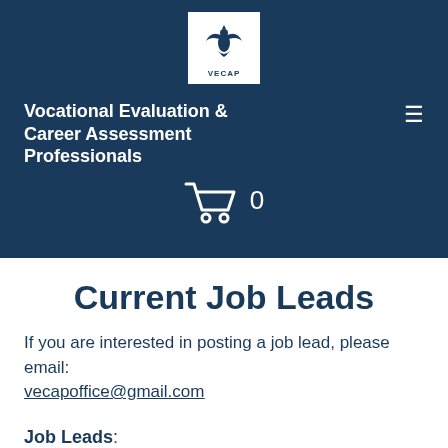[Figure (logo): VECAP logo: white box with dark blue phoenix/eagle bird above text 'VECAP']
Vocational Evaluation & Career Assessment Professionals
≡ (hamburger menu icon)
[Figure (illustration): Shopping cart icon with count 0]
Current Job Leads
If you are interested in posting a job lead, please email: vecapoffice@gmail.com
Job Leads: